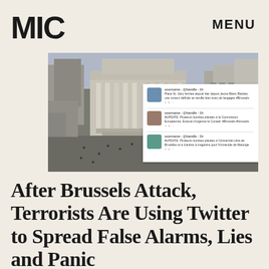MIC   MENU
[Figure (photo): Aerial view of Brussels city square with a neoclassical building, overlaid with a panel showing Twitter/social media posts in French about Brussels attacks]
After Brussels Attack, Terrorists Are Using Twitter to Spread False Alarms, Lies and Panic